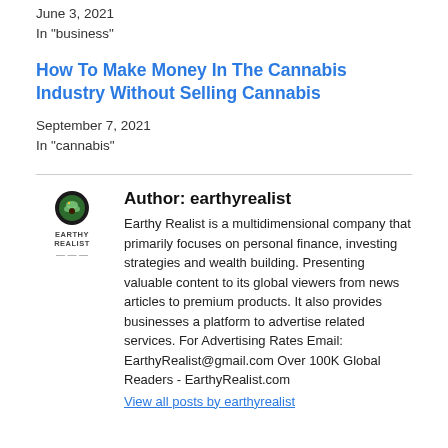June 3, 2021
In "business"
How To Make Money In The Cannabis Industry Without Selling Cannabis
September 7, 2021
In "cannabis"
[Figure (logo): Earthy Realist logo — small circular green icon above the text EARTHY REALIST with dashes below]
Author: earthyrealist
Earthy Realist is a multidimensional company that primarily focuses on personal finance, investing strategies and wealth building. Presenting valuable content to its global viewers from news articles to premium products. It also provides businesses a platform to advertise related services. For Advertising Rates Email: EarthyRealist@gmail.com Over 100K Global Readers - EarthyRealist.com
View all posts by earthyrealist